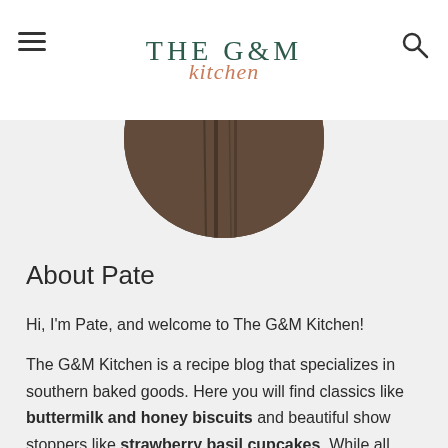THE G&M Kitchen
[Figure (photo): Circular cropped photo showing a wooden surface with dark background, partially visible at the top of the content area]
About Pate
Hi, I'm Pate, and welcome to The G&M Kitchen!

The G&M Kitchen is a recipe blog that specializes in southern baked goods. Here you will find classics like buttermilk and honey biscuits and beautiful show stoppers like strawberry basil cupcakes. While all recipes are inspired by traditional southern classics, they all